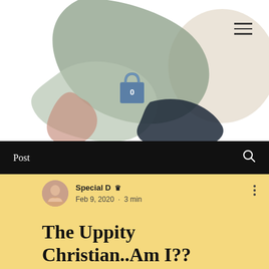[Figure (illustration): Abstract decorative illustration with organic blob shapes in sage green, dusty rose, light grey-green, navy/dark teal, and cream/beige tones on a white background. A blue shopping bag icon with '0' is shown in the center.]
Post
Special D 👑
Feb 9, 2020 · 3 min
The Uppity Christian..Am I??